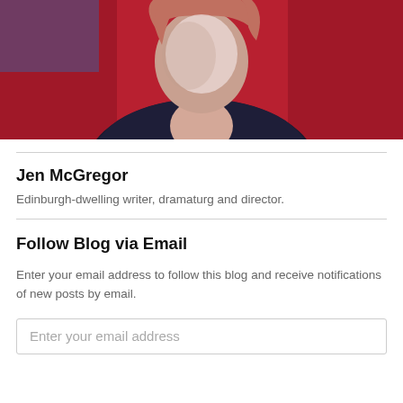[Figure (photo): Portrait photo of a woman with reddish-brown hair wearing a dark floral jacket, photographed against a red background.]
Jen McGregor
Edinburgh-dwelling writer, dramaturg and director.
Follow Blog via Email
Enter your email address to follow this blog and receive notifications of new posts by email.
Enter your email address